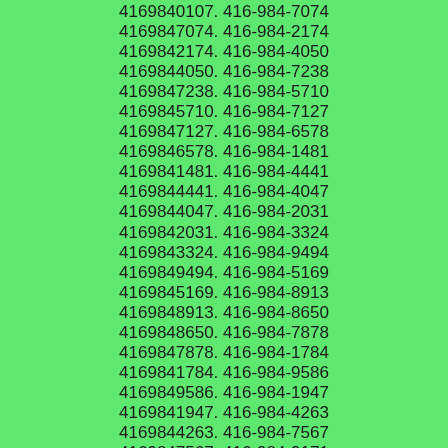4169840107. 416-984-7074
4169847074. 416-984-2174
4169842174. 416-984-4050
4169844050. 416-984-7238
4169847238. 416-984-5710
4169845710. 416-984-7127
4169847127. 416-984-6578
4169846578. 416-984-1481
4169841481. 416-984-4441
4169844441. 416-984-4047
4169844047. 416-984-2031
4169842031. 416-984-3324
4169843324. 416-984-9494
4169849494. 416-984-5169
4169845169. 416-984-8913
4169848913. 416-984-8650
4169848650. 416-984-7878
4169847878. 416-984-1784
4169841784. 416-984-9586
4169849586. 416-984-1947
4169841947. 416-984-4263
4169844263. 416-984-7567
4169847567. 416-984-9171
4169849171. 416-984-3071
4169843071. 416-984-9110 4169849110.
416-984-3071 4169843071. 416-984-